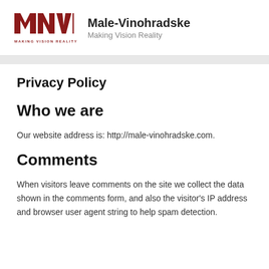[Figure (logo): MVR logo — dark red letters NMR with MAKING VISION REALITY tagline below]
Male-Vinohradske
Making Vision Reality
Privacy Policy
Who we are
Our website address is: http://male-vinohradske.com.
Comments
When visitors leave comments on the site we collect the data shown in the comments form, and also the visitor's IP address and browser user agent string to help spam detection.